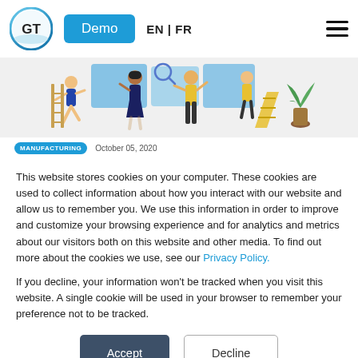GT  Demo  EN | FR  [hamburger menu]
[Figure (illustration): Colorful flat illustration showing workers in various manufacturing/office poses: person running with ladder, person on phone, person painting/working with blue panels, person in yellow near ladder, person with plant.]
MANUFACTURING   October 05, 2020
This website stores cookies on your computer. These cookies are used to collect information about how you interact with our website and allow us to remember you. We use this information in order to improve and customize your browsing experience and for analytics and metrics about our visitors both on this website and other media. To find out more about the cookies we use, see our Privacy Policy.
If you decline, your information won't be tracked when you visit this website. A single cookie will be used in your browser to remember your preference not to be tracked.
Accept  Decline